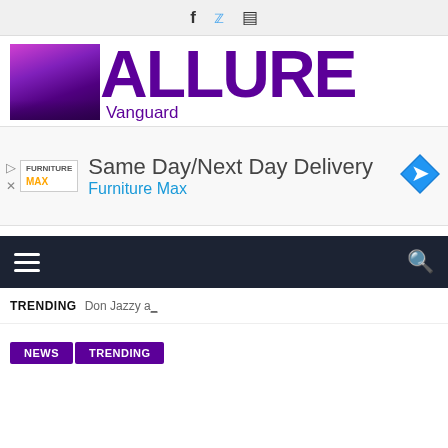Social icons: Facebook, Twitter, Instagram
[Figure (logo): Allure Vanguard logo with purple text and woman in purple outfit]
[Figure (other): Advertisement: Same Day/Next Day Delivery - Furniture Max]
[Figure (other): Navigation bar with hamburger menu and search icon]
TRENDING Don Jazzy a...
NEWS
TRENDING